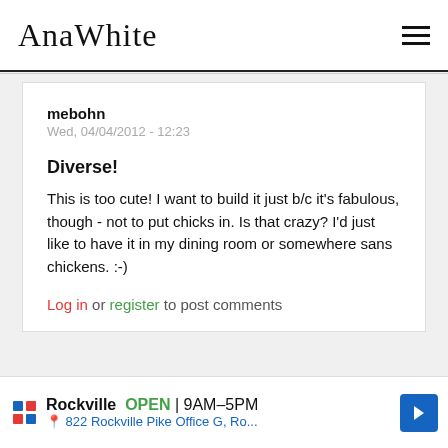AnaWhite
mebohn
Wed, 04/04/2012 - 12:23
Diverse!
This is too cute! I want to build it just b/c it's fabulous, though - not to put chicks in. Is that crazy? I'd just like to have it in my dining room or somewhere sans chickens. :-)
Log in or register to post comments
Rockville OPEN 9AM–5PM
822 Rockville Pike Office G, Ro...